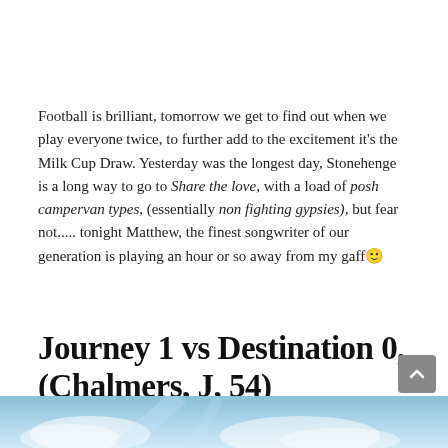Football is brilliant, tomorrow we get to find out when we play everyone twice, to further add to the excitement it's the Milk Cup Draw. Yesterday was the longest day, Stonehenge is a long way to go to Share the love, with a load of posh campervan types, (essentially non fighting gypsies), but fear not..... tonight Matthew, the finest songwriter of our generation is playing an hour or so away from my gaff🙂
Journey 1 vs Destination 0, (Chalmers, J, 54)
[Figure (photo): Partial sky/clouds photo visible at bottom of page]